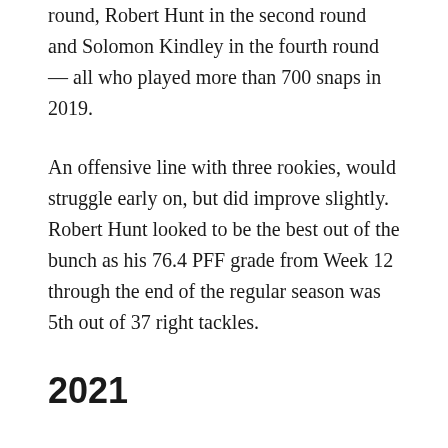round, Robert Hunt in the second round and Solomon Kindley in the fourth round — all who played more than 700 snaps in 2019.
An offensive line with three rookies, would struggle early on, but did improve slightly. Robert Hunt looked to be the best out of the bunch as his 76.4 PFF grade from Week 12 through the end of the regular season was 5th out of 37 right tackles.
2021
As Pre-season winds down we see glimpses of what this Dolphins offensive line could be, thus as it factors into offensive philosophy.